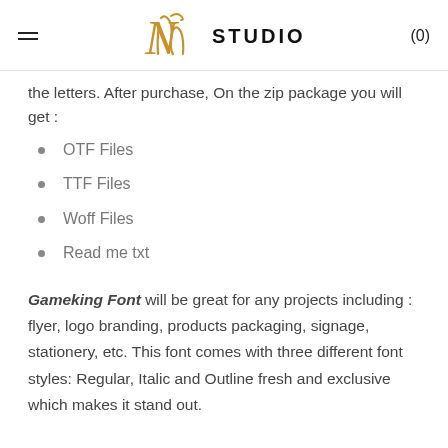Nih STUDIO (0)
the letters. After purchase, On the zip package you will get :
OTF Files
TTF Files
Woff Files
Read me txt
Gameking Font will be great for any projects including : flyer, logo branding, products packaging, signage, stationery, etc. This font comes with three different font styles: Regular, Italic and Outline fresh and exclusive which makes it stand out.